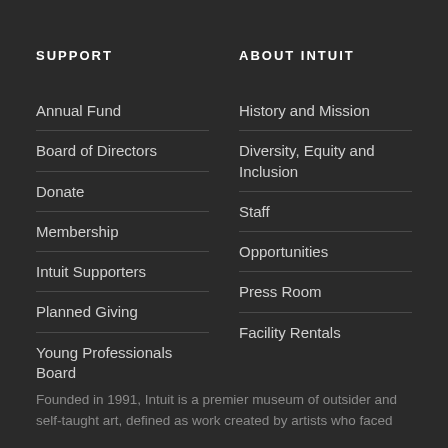SUPPORT
Annual Fund
Board of Directors
Donate
Membership
Intuit Supporters
Planned Giving
Young Professionals Board
ABOUT INTUIT
History and Mission
Diversity, Equity and Inclusion
Staff
Opportunities
Press Room
Facility Rentals
Founded in 1991, Intuit is a premier museum of outsider and self-taught art, defined as work created by artists who faced